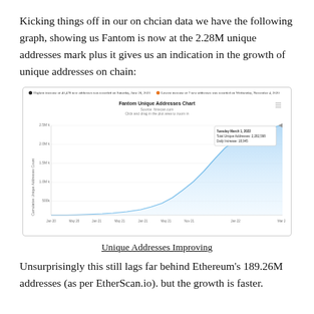Kicking things off in our on chcian data we have the following graph, showing us Fantom is now at the 2.28M unique addresses mark plus it gives us an indication in the growth of unique addresses on chain:
[Figure (area-chart): Area chart showing Fantom cumulative unique addresses growth from around Jan 2020 to Mar 2022, reaching 2,282,598. The curve starts flat and rises sharply near the end. A tooltip shows Tuesday March 1, 2022: Total Unique Addresses: 2,282,598, Daily Increase: 18,945.]
Unique Addresses Improving
Unsurprisingly this still lags far behind Ethereum's 189.26M addresses (as per EtherScan.io). but the growth is faster.